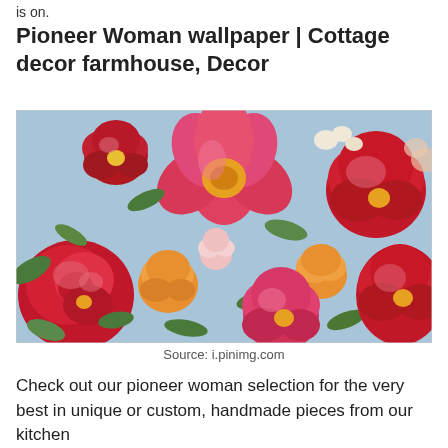is on.
Pioneer Woman wallpaper | Cottage decor farmhouse, Decor
[Figure (photo): Floral wallpaper pattern featuring large red, pink, and orange roses and flowers with green leaves on a light blue background. Pioneer Woman style cottage decor.]
Source: i.pinimg.com
Check out our pioneer woman selection for the very best in unique or custom, handmade pieces from our kitchen